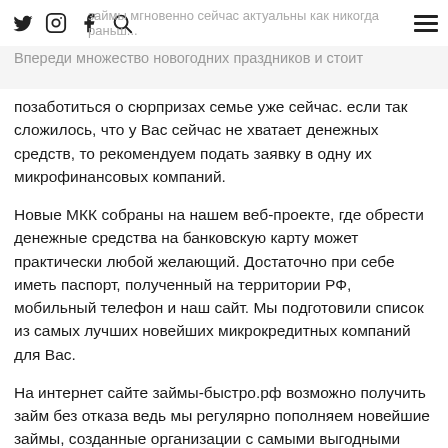займы мгновенно сейчас актуальны как никогда раньше. Впереди множество новогодних праздников и стоит
позаботиться о сюрпризах семье уже сейчас. если так сложилось, что у Вас сейчас не хватает денежных средств, то рекомендуем подать заявку в одну их микрофинансовых компаний.
Новые МКК собраны на нашем веб-проекте, где обрести денежные средства на банковскую карту может практически любой желающий. Достаточно при себе иметь паспорт, полученный на территории РФ, мобильный телефон и наш сайт. Мы подготовили список из самых лучших новейших микрокредитных компаний для Вас.
На интернет сайте займы-быстро.рф возможно получить займ без отказа ведь мы регулярно пополняем новейшие займы, созданные организации с самыми выгодными условиями для посетителей. Получить онлайн займ возможно всего лишь за 10-20 минут.
Выбирайте МКК, внимательно изучив данные, кликайте на "подать заявку" и оформляйте анкету. необходимы будут Ваши персональные данные и номер мобильного телефона. Далее